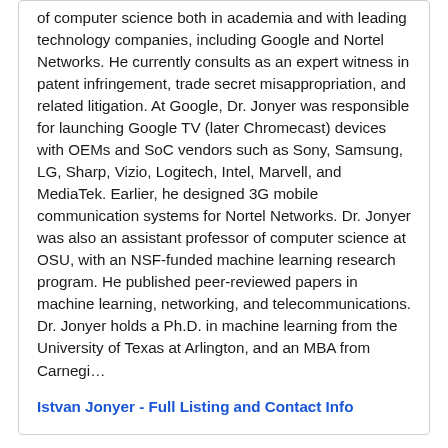of computer science both in academia and with leading technology companies, including Google and Nortel Networks. He currently consults as an expert witness in patent infringement, trade secret misappropriation, and related litigation. At Google, Dr. Jonyer was responsible for launching Google TV (later Chromecast) devices with OEMs and SoC vendors such as Sony, Samsung, LG, Sharp, Vizio, Logitech, Intel, Marvell, and MediaTek. Earlier, he designed 3G mobile communication systems for Nortel Networks. Dr. Jonyer was also an assistant professor of computer science at OSU, with an NSF-funded machine learning research program. He published peer-reviewed papers in machine learning, networking, and telecommunications. Dr. Jonyer holds a Ph.D. in machine learning from the University of Texas at Arlington, and an MBA from Carnegi...
Istvan Jonyer - Full Listing and Contact Info
Bert Schiettecatte, MSc/CS, MA/MST
Naistron LLC